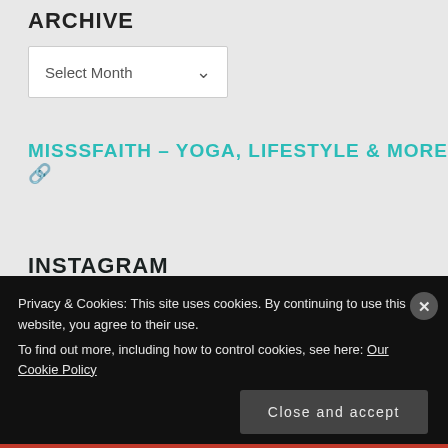ARCHIVE
Select Month
MISSSFAITH – YOGA, LIFESTYLE & MORE 🔗
INSTAGRAM
Privacy & Cookies: This site uses cookies. By continuing to use this website, you agree to their use.
To find out more, including how to control cookies, see here: Our Cookie Policy
Close and accept